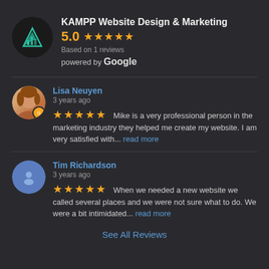[Figure (logo): KAMPP Website Design & Marketing logo - triangle/mountain shape in teal/green]
KAMPP Website Design & Marketing
5.0 ★★★★★
Based on 1 reviews
powered by Google
[Figure (photo): Profile photo of Lisa Neuyen with Google badge]
Lisa Neuyen
3 years ago
★★★★★ Mike is a very professional person in the marketing industry they helped me create my website. I am very satisfied with... read more
[Figure (illustration): Default blue avatar icon for Tim Richardson]
Tim Richardson
3 years ago
★★★★★ When we needed a new website we called several places and we were not sure what to do. We were a bit intimidated... read more
See All Reviews